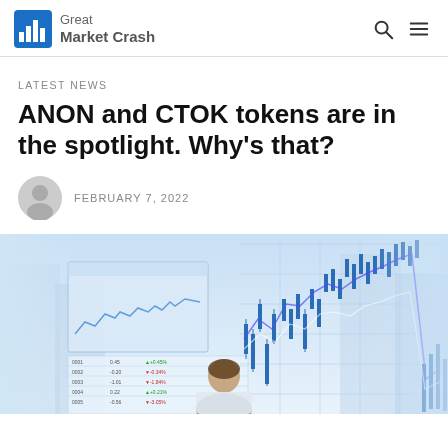Great Market Crash
LATEST NEWS
ANON and CTOK tokens are in the spotlight. Why's that?
FEBRUARY 7, 2022
[Figure (photo): Man viewed from behind looking at large financial trading screens displaying stock charts, candlestick charts, and market data tables]